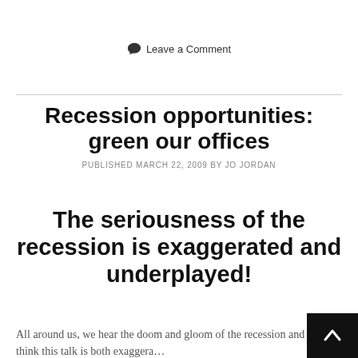Leave a Comment
Recession opportunities: green our offices
PUBLISHED MARCH 22, 2009 BY JO JORDAN
The seriousness of the recession is exaggerated and underplayed!
All around us, we hear the doom and gloom of the recession and I think this talk is both exaggera...